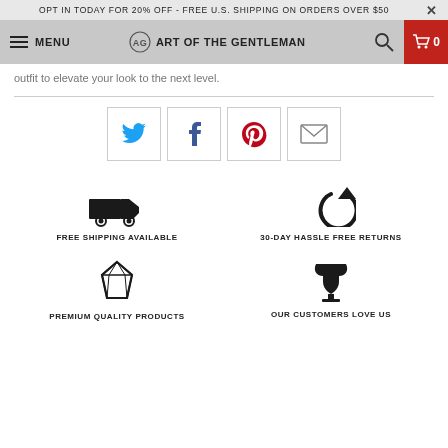OPT IN TODAY FOR 20% OFF - FREE U.S. SHIPPING ON ORDERS OVER $50  ×
MENU  AG ART OF THE GENTLEMAN  0
outfit to elevate your look to the next level.
[Figure (other): Social sharing icons: Twitter (blue bird), Facebook (f), Pinterest (red p), Email (envelope)]
[Figure (infographic): Four feature icons with labels: FREE SHIPPING AVAILABLE (truck icon), 30-DAY HASSLE FREE RETURNS (refresh icon), PREMIUM QUALITY PRODUCTS (diamond icon), OUR CUSTOMERS LOVE US (trophy icon)]